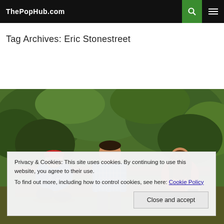ThePopHub.com
Tag Archives: Eric Stonestreet
[Figure (photo): Three people sitting on a park bench outdoors. An older man in a Hawaiian shirt and red cap on the left, a tall man in a blue checkered shirt in the center, and a woman in an orange/patterned dress on the right.]
Privacy & Cookies: This site uses cookies. By continuing to use this website, you agree to their use.
To find out more, including how to control cookies, see here: Cookie Policy
Close and accept